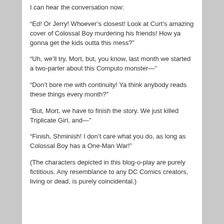I can hear the conversation now:
“Ed! Or Jerry! Whoever’s closest! Look at Curt’s amazing cover of Colossal Boy murdering his friends! How ya gonna get the kids outta this mess?”
“Uh, we’ll try, Mort, but, you know, last month we started a two-parter about this Computo monster—”
“Don’t bore me with continuity! Ya think anybody reads these things every month?”
“But, Mort, we have to finish the story. We just killed Triplicate Girl, and—”
“Finish, Shminish! I don’t care what you do, as long as Colossal Boy has a One-Man War!”
(The characters depicted in this blog-o-play are purely fictitious. Any resemblance to any DC Comics creators, living or dead, is purely coincidental.)